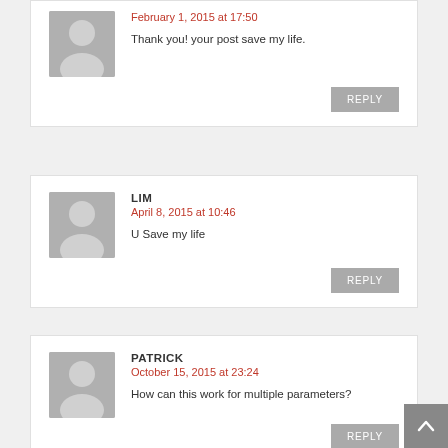February 1, 2015 at 17:50
Thank you! your post save my life.
LIM
April 8, 2015 at 10:46
U Save my life
PATRICK
October 15, 2015 at 23:24
How can this work for multiple parameters?